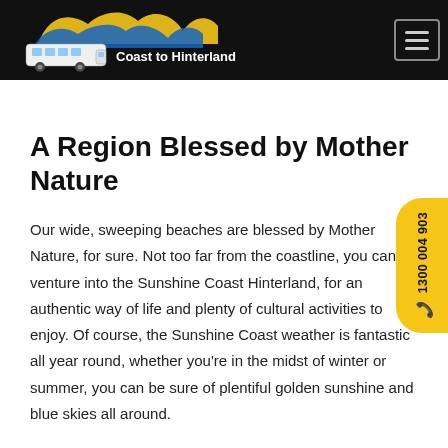Coast to Hinterland Tours
A Region Blessed by Mother Nature
Our wide, sweeping beaches are blessed by Mother Nature, for sure. Not too far from the coastline, you can venture into the Sunshine Coast Hinterland, for an authentic way of life and plenty of cultural activities to enjoy. Of course, the Sunshine Coast weather is fantastic all year round, whether you're in the midst of winter or summer, you can be sure of plentiful golden sunshine and blue skies all around.
There is a reason why so many people visit the
[Figure (logo): Coast to Hinterland Tours logo with bus and flame/wave design on black background]